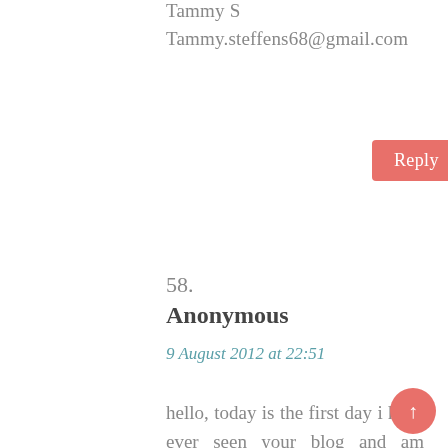Tammy S
Tammy.steffens68@gmail.com
Reply
58.
Anonymous
9 August 2012 at 22:51
hello, today is the first day i have ever seen your blog and am happy to say I LOVE IT!!! i'm just a 13 year old girl who would love to win this giveaway and make my bentos cute. ^_^ i actually have no bento supplies or